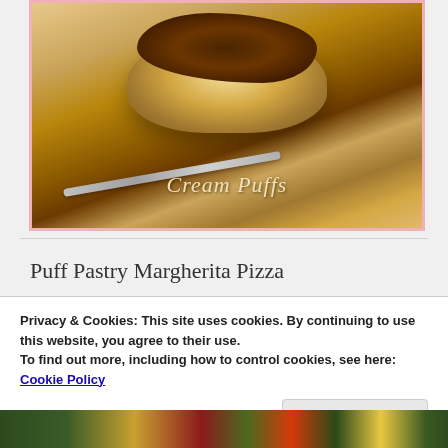[Figure (photo): Photo of cream puffs on a glass plate with a fork, chocolate sauce drizzled on top. Text overlay reads 'Cream Puffs' in italic gold lettering. Image has a pink border.]
Puff Pastry Margherita Pizza
Privacy & Cookies: This site uses cookies. By continuing to use this website, you agree to their use.
To find out more, including how to control cookies, see here:
Cookie Policy
Close and accept
[Figure (photo): Partial photo of Puff Pastry Margherita Pizza at the bottom of the page, showing colorful toppings.]